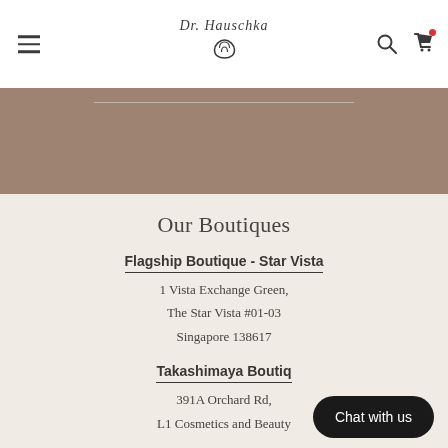Dr. Hauschka
[Figure (other): Tan/brown banner section with a thin horizontal white dividing line]
Our Boutiques
Flagship Boutique - Star Vista
1 Vista Exchange Green, The Star Vista #01-03 Singapore 138617
Takashimaya Boutique
391A Orchard Rd, L1 Cosmetics and Beauty
[Figure (other): Chat with us button overlay in bottom right]